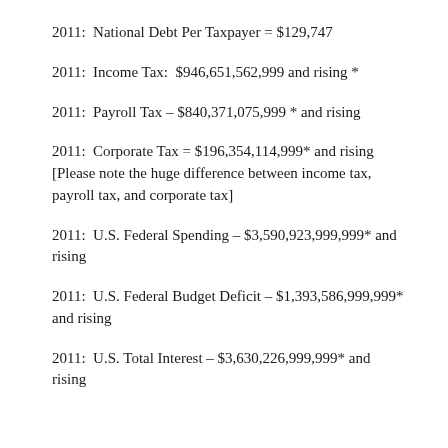2011:  National Debt Per Taxpayer = $129,747
2011:  Income Tax:  $946,651,562,999 and rising *
2011:  Payroll Tax – $840,371,075,999 * and rising
2011:  Corporate Tax = $196,354,114,999* and rising [Please note the huge difference between income tax, payroll tax, and corporate tax]
2011:  U.S. Federal Spending – $3,590,923,999,999* and rising
2011:  U.S. Federal Budget Deficit – $1,393,586,999,999* and rising
2011:  U.S. Total Interest – $3,630,226,999,999* and rising